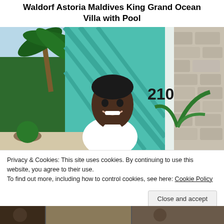Waldorf Astoria Maldives King Grand Ocean Villa with Pool
[Figure (photo): Photo of a smiling man standing in front of a teal/turquoise door numbered 210, with tropical plants and palm trees visible in the background and a stone wall on the right]
Privacy & Cookies: This site uses cookies. By continuing to use this website, you agree to their use.
To find out more, including how to control cookies, see here: Cookie Policy
Close and accept
[Figure (photo): Partial view of another photo at the bottom of the page showing people in an outdoor tropical setting]